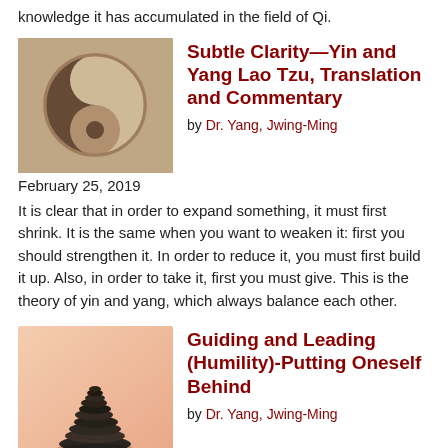knowledge it has accumulated in the field of Qi.
[Figure (photo): Yin and yang stone symbol carved in sandy stone]
Subtle Clarity—Yin and Yang Lao Tzu, Translation and Commentary
by Dr. Yang, Jwing-Ming
February 25, 2019
It is clear that in order to expand something, it must first shrink. It is the same when you want to weaken it: first you should strengthen it. In order to reduce it, you must first build it up. Also, in order to take it, first you must give. This is the theory of yin and yang, which always balance each other.
[Figure (photo): Stack of dark balanced stones on a warm pinkish background]
Guiding and Leading (Humility)-Putting Oneself Behind
by Dr. Yang, Jwing-Ming
December 10, 2018
As a leader, humility is the most important prerequisite to lead the